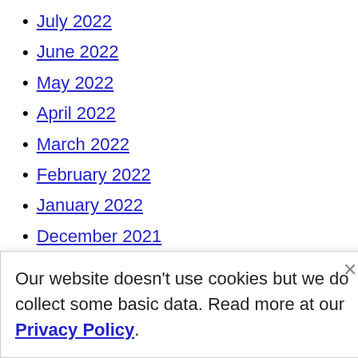July 2022
June 2022
May 2022
April 2022
March 2022
February 2022
January 2022
December 2021
November 2021
October 2021
Our website doesn't use cookies but we do collect some basic data. Read more at our Privacy Policy.